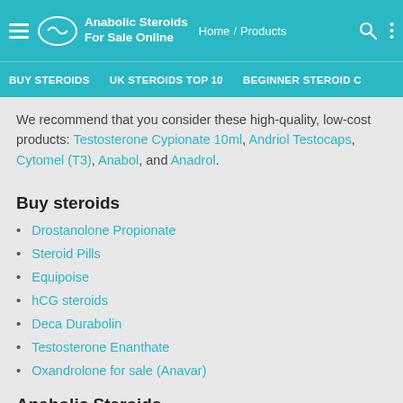Anabolic Steroids For Sale Online | Home / Products
BUY STEROIDS   UK STEROIDS TOP 10   BEGINNER STEROID C
We recommend that you consider these high-quality, low-cost products: Testosterone Cypionate 10ml, Andriol Testocaps, Cytomel (T3), Anabol, and Anadrol.
Buy steroids
Drostanolone Propionate
Steroid Pills
Equipoise
hCG steroids
Deca Durabolin
Testosterone Enanthate
Oxandrolone for sale (Anavar)
Anabolic Steroids